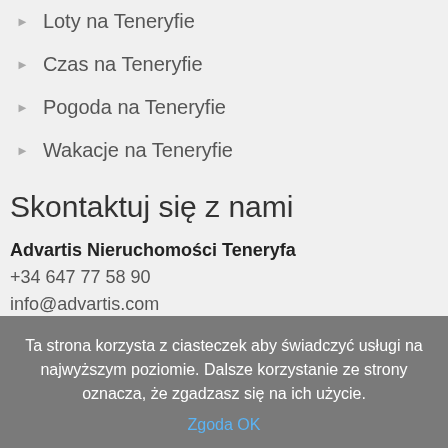Loty na Teneryfie
Czas na Teneryfie
Pogoda na Teneryfie
Wakacje na Teneryfie
Skontaktuj się z nami
Advartis Nieruchomości Teneryfa
+34 647 77 58 90
info@advartis.com
Av. Juan Carlos I, Valdes Center,
38650
Arona,
Ta strona korzysta z ciasteczek aby świadczyć usługi na najwyższym poziomie. Dalsze korzystanie ze strony oznacza, że zgadzasz się na ich użycie.
Zgoda OK